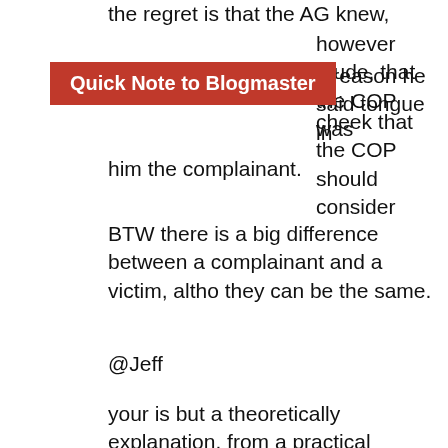the regret is that the AG knew, however crude, that the COP was [s reason he said tongue in cheek that the COP should consider him the complainant.
[Figure (other): Red banner label reading 'Quick Note to Blogmaster']
BTW there is a big difference between a complainant and a victim, altho they can be the same.
@Jeff
your is but a theoretically explanation. from a practical standpoint it is difficult for police or investigators to investigate bribery/corruption offences without some sort of a complaint. in this particular matter it seems like the predicate offence – corruption- took place in Bim whilst the laundering or some aspect of it – the proceeds of the whole scheme were used by the US...